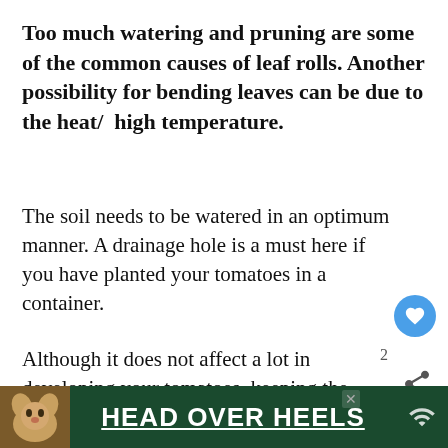Too much watering and pruning are some of the common causes of leaf rolls. Another possibility for bending leaves can be due to the heat/  high temperature.
The soil needs to be watered in an optimum manner. A drainage hole is a must here if you have planted your tomatoes in a container.
Although it does not affect a lot in developing your tomatoes, keeping the plant as healthy as possible is always a great idea.
8) No Leathery Black
[Figure (other): Advertisement banner with dog image and text HEAD OVER HEELS on dark green background]